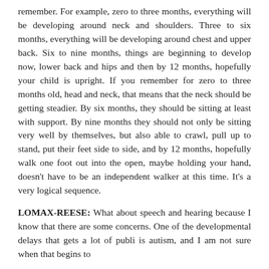remember. For example, zero to three months, everything will be developing around neck and shoulders. Three to six months, everything will be developing around chest and upper back. Six to nine months, things are beginning to develop now, lower back and hips and then by 12 months, hopefully your child is upright. If you remember for zero to three months old, head and neck, that means that the neck should be getting steadier. By six months, they should be sitting at least with support. By nine months they should not only be sitting very well by themselves, but also able to crawl, pull up to stand, put their feet side to side, and by 12 months, hopefully walk one foot out into the open, maybe holding your hand, doesn't have to be an independent walker at this time. It's a very logical sequence.
LOMAX-REESE: What about speech and hearing because I know that there are some concerns. One of the developmental delays that gets a lot of public is autism, and I am not sure when that begins to